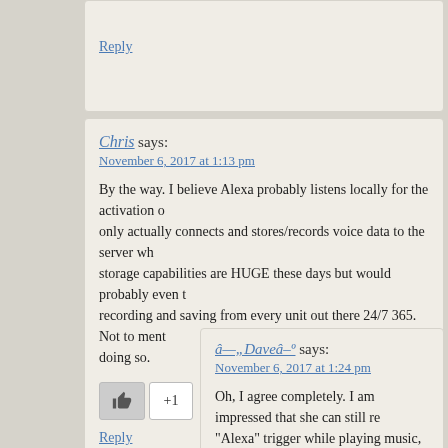Reply
Chris says:
November 6, 2017 at 1:13 pm
By the way. I believe Alexa probably listens locally for the activation o... only actually connects and stores/records voice data to the server wh... storage capabilities are HUGE these days but would probably even t... recording and saving from every unit out there 24/7 365. Not to ment... doing so.
+1
Reply
â—„Daveâ–º says:
November 6, 2017 at 1:24 pm
Oh, I agree completely. I am impressed that she can still re... "Alexa" trigger while playing music, if I raise my voice; but t... to my request. I would venture to say that quiet conversatio... she is playing Rock, couldn't possibly be recorded with any... „Daveâ–º